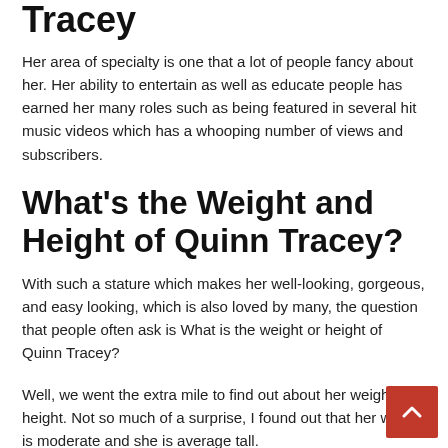Tracey
Her area of specialty is one that a lot of people fancy about her. Her ability to entertain as well as educate people has earned her many roles such as being featured in several hit music videos which has a whooping number of views and subscribers.
What's the Weight and Height of Quinn Tracey?
With such a stature which makes her well-looking, gorgeous, and easy looking, which is also loved by many, the question that people often ask is What is the weight or height of Quinn Tracey?
Well, we went the extra mile to find out about her weight and height. Not so much of a surprise, I found out that her weight is moderate and she is average tall.